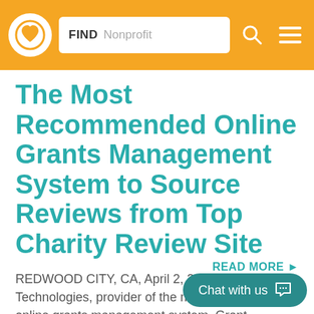FIND Nonprofit [search bar with logo and menu]
The Most Recommended Online Grants Management System to Source Reviews from Top Charity Review Site
REDWOOD CITY, CA, April 2, 2014 – Foundant Technologies, provider of the most recommended online grants management system, Grant Lifecycle Manager (GLM), and...
READ MORE ▶
Chat with us 💬